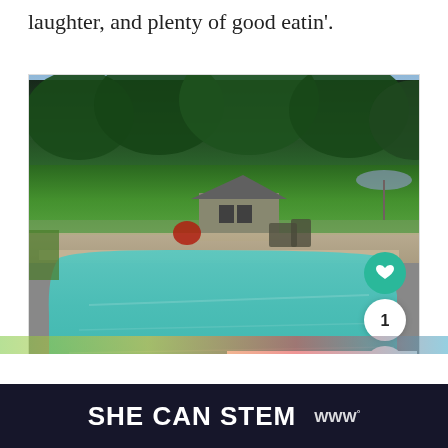laughter, and plenty of good eatin'.
[Figure (photo): Outdoor swimming pool with turquoise water surrounded by a patio, garden, and lush green trees in the background. A small shed and patio furniture are visible. UI overlay buttons visible on right side: heart/favorite button, share count '1', and share button. 'What's Next' teaser card in bottom right corner showing 'Fitness Day + An Easy...']
[Figure (screenshot): Advertisement banner: 'SHE CAN STEM' in white bold text on dark navy background, with a logo on the right showing 'W°']